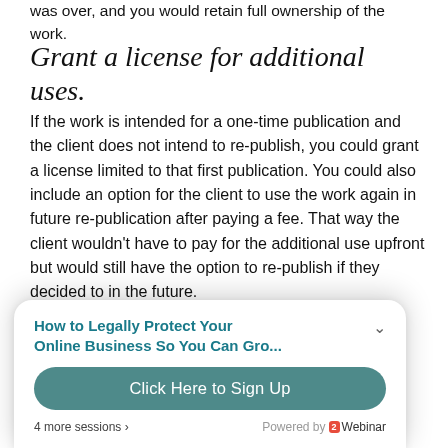was over, and you would retain full ownership of the work.
Grant a license for additional uses.
If the work is intended for a one-time publication and the client does not intend to re-publish, you could grant a license limited to that first publication. You could also include an option for the client to use the work again in future re-publication after paying a fee. That way the client wouldn't have to pay for the additional use upfront but would still have the option to re-publish if they decided to in the future.
[Figure (infographic): Popup overlay: 'How to Legally Protect Your Online Business So You Can Gro...' with a 'Click Here to Sign Up' button, '4 more sessions ›' and 'Powered by 2Webinar']
...o a certain ...all rights to the work for a specific period of time. Your work may have